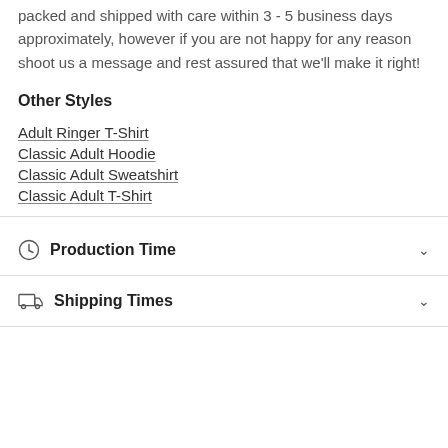packed and shipped with care within 3 - 5 business days approximately, however if you are not happy for any reason shoot us a message and rest assured that we'll make it right!
Other Styles
Adult Ringer T-Shirt
Classic Adult Hoodie
Classic Adult Sweatshirt
Classic Adult T-Shirt
Production Time
Shipping Times